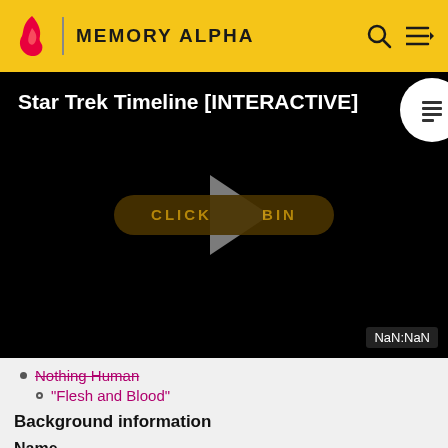MEMORY ALPHA
[Figure (screenshot): Video player showing 'Star Trek Timeline [INTERACTIVE]' with a play button overlay and 'CLICK TO BEGIN' button on black background. Shows NaN:NaN timestamp. Partial circle button with list icon in top right.]
Nothing Human
"Flesh and Blood"
Background information
Name
In a personnel file displayed for Ensign Ro Laren in TNG: